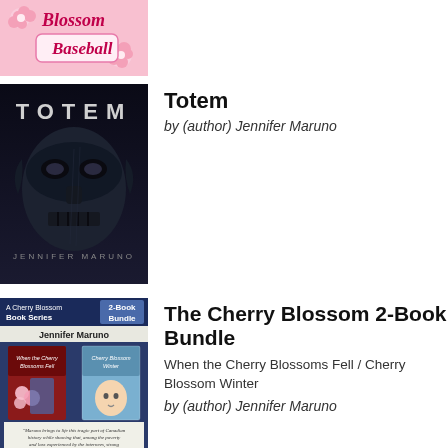[Figure (illustration): Partial book cover showing 'Blossom Baseball' text in pink/red italic font on a pink floral background]
[Figure (illustration): Book cover of 'Totem' by Jennifer Maruno showing a dark, moody image of a totem face with the title TOTEM in white letters]
Totem
by (author) Jennifer Maruno
[Figure (illustration): Book cover of 'The Cherry Blossom 2-Book Bundle' by Jennifer Maruno, showing two mini book covers and a quote]
The Cherry Blossom 2-Book Bundle
When the Cherry Blossoms Fell / Cherry Blossom Winter
by (author) Jennifer Maruno